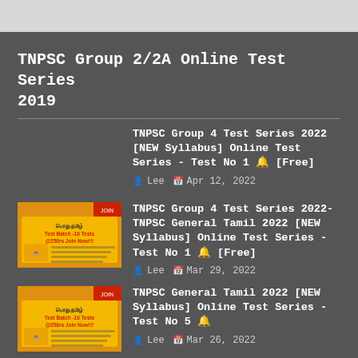TNPSC Group 2/2A Online Test Series 2019
TNPSC Group 4 Test Series 2022 [NEW Syllabus] Online Test Series - Test No 1 🔔 [Free]
TNPSC Group 4 Test Series 2022-TNPSC General Tamil 2022 [NEW Syllabus] Online Test Series - Test No 1 🔔 [Free]
TNPSC General Tamil 2022 [NEW Syllabus] Online Test Series - Test No 5 🔔
TNPSC General Tamil 2022 [NEW Syllabus]...